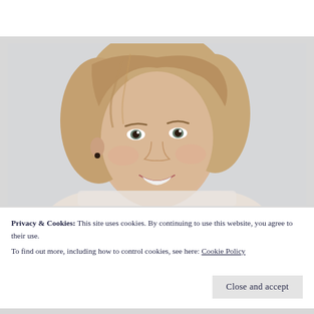[Figure (photo): Portrait photo of a smiling young woman with light brown/blonde hair, photographed against a light grey/white background, cropped to show head and upper shoulders.]
Privacy & Cookies: This site uses cookies. By continuing to use this website, you agree to their use.
To find out more, including how to control cookies, see here: Cookie Policy
Close and accept